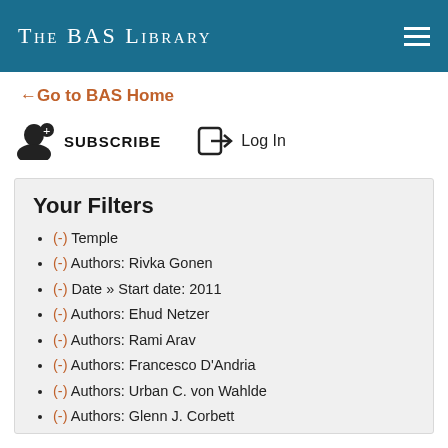The BAS Library
←Go to BAS Home
SUBSCRIBE   Log In
Your Filters
(-) Temple
(-) Authors: Rivka Gonen
(-) Date » Start date: 2011
(-) Authors: Ehud Netzer
(-) Authors: Rami Arav
(-) Authors: Francesco D'Andria
(-) Authors: Urban C. von Wahlde
(-) Authors: Glenn J. Corbett